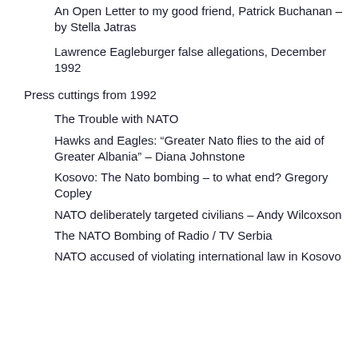An Open Letter to my good friend, Patrick Buchanan – by Stella Jatras
Lawrence Eagleburger false allegations, December 1992
Press cuttings from 1992
The Trouble with NATO
Hawks and Eagles: “Greater Nato flies to the aid of Greater Albania” – Diana Johnstone
Kosovo: The Nato bombing – to what end? Gregory Copley
NATO deliberately targeted civilians – Andy Wilcoxson
The NATO Bombing of Radio / TV Serbia
NATO accused of violating international law in Kosovo